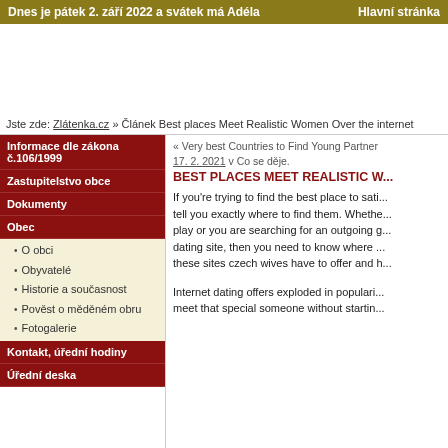Dnes je pátek 2. září 2022 a svátek má Adéla    Hlavní stránka
Jste zde: Zlátenka.cz » Článek Best places Meet Realistic Women Over the internet
Informace dle zákona č.106/1999
Zastupitelstvo obce
Dokumenty
Obec
O obci
Obyvatelé
Historie a současnost
Pověst o měděném obru
Fotogalerie
Kontakt, úřední hodiny
Úřední deska
« Very best Countries to Find Young Partner
17. 2. 2021 v Co se děje
BEST PLACES MEET REALISTIC WOMEN OVER THE INTERNET
If you're trying to find the best place to satisfy real women, let me tell you exactly where to find them. Whether you like a girl who is at play or you are searching for an outgoing girl who's ready to try online dating site, then you need to know where to look to get the most out of these sites czech wives have to offer and how to pick the right one.
Internet dating offers exploded in popularity and is a great way to meet that special someone without starting out in bars or clubs.